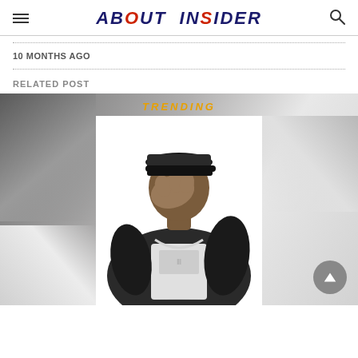ABOUT INSIDER
10 MONTHS AGO
RELATED POST
[Figure (photo): Black and white photo of a person in a leather jacket and chain necklace, covering their face with one hand, wearing a cap, against a white background with gray gradient edges. Yellow text banner visible at top.]